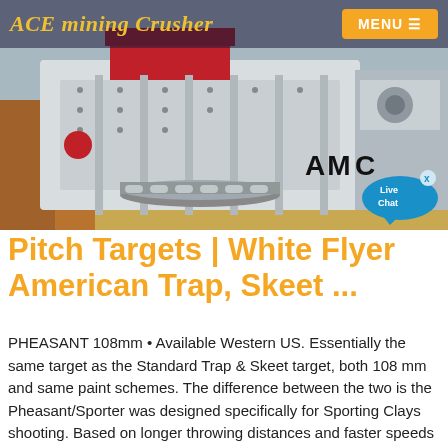ACE mining Crusher
[Figure (photo): Industrial mining crusher machine (large white metal crusher equipment) in a warehouse/factory setting, with AMC logo overlay and Live Chat bubble in the bottom right corner.]
Pitch Targets | White Flyer American Trap, Skeet ...
PHEASANT 108mm • Available Western US. Essentially the same target as the Standard Trap & Skeet target, both 108 mm and same paint schemes. The difference between the two is the Pheasant/Sporter was designed specifically for Sporting Clays shooting. Based on longer throwing distances and faster speeds the Pheasant/Sporter is ideal...